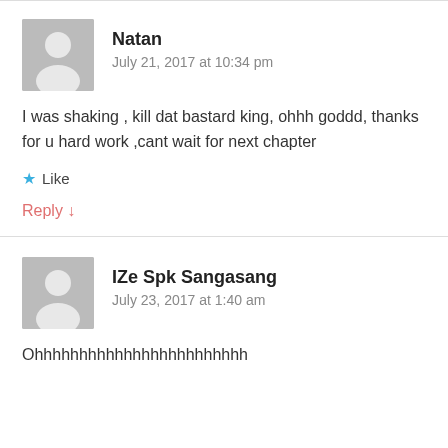Natan
July 21, 2017 at 10:34 pm
I was shaking , kill dat bastard king, ohhh goddd, thanks for u hard work ,cant wait for next chapter
Like
Reply ↓
IZe Spk Sangasang
July 23, 2017 at 1:40 am
Ohhhhhhhhhhhhhhhhhhhhhhhh